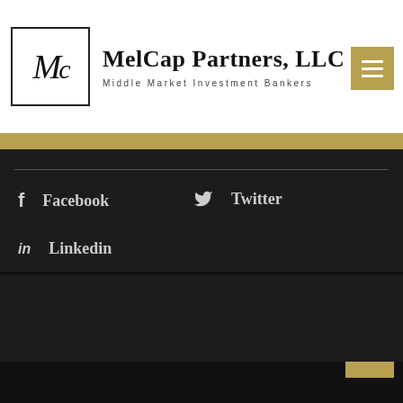MelCap Partners, LLC — Middle Market Investment Bankers
Facebook
Twitter
Linkedin
Copyright © 2022 MelCap Partners, LLC. All rights reserved. Sitemap  Privacy Policy